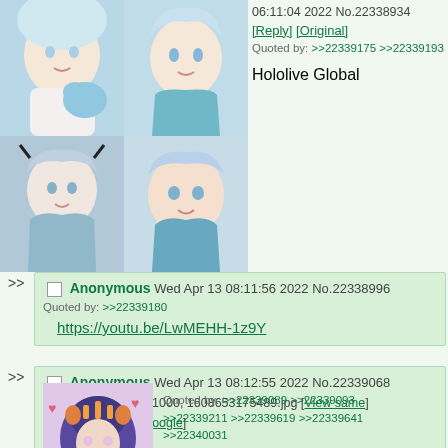[Figure (illustration): Anime-style illustration collage of a girl with blue/white hair and teal outfit, multiple poses]
06:11:04 2022 No.22338934 [Reply] [Original]
Quoted by: >>22339175 >>22339193

Hololive Global
>> Anonymous Wed Apr 13 08:11:56 2022 No.22338996
Quoted by: >>22339180
https://youtu.be/LwMEHH-1z9Y
>> Anonymous Wed Apr 13 08:12:55 2022 No.22339068
File: 103 KB, 1000x1000, 1608653175489.jpg [View same] [iqdb] [saucenao] [google]
Quoted by: >>22339089 >>22339093 >>22339211 >>22339619 >>22339641 >>22340031